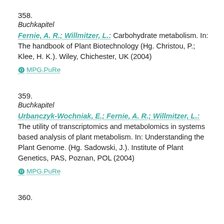358.
Buchkapitel
Fernie, A. R.; Willmitzer, L.: Carbohydrate metabolism. In: The handbook of Plant Biotechnology (Hg. Christou, P.; Klee, H. K.). Wiley, Chichester, UK (2004)
⊙ MPG.PuRe
359.
Buchkapitel
Urbanczyk-Wochniak, E.; Fernie, A. R.; Willmitzer, L.: The utility of transcriptomics and metabolomics in systems based analysis of plant metabolism. In: Understanding the Plant Genome. (Hg. Sadowski, J.). Institute of Plant Genetics, PAS, Poznan, POL (2004)
⊙ MPG.PuRe
360.